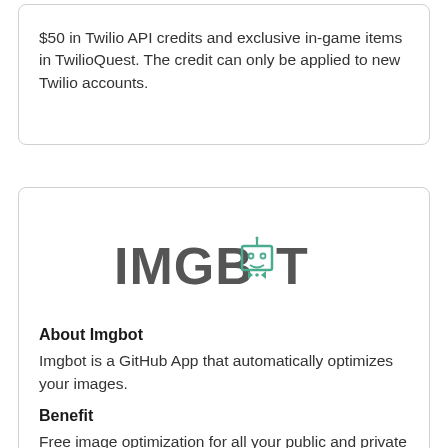$50 in Twilio API credits and exclusive in-game items in TwilioQuest. The credit can only be applied to new Twilio accounts.
[Figure (logo): Imgbot logo — text 'IMGBOT' with a small robot/monitor icon replacing the letter O, in teal/dark gray colors]
About Imgbot
Imgbot is a GitHub App that automatically optimizes your images.
Benefit
Free image optimization for all your public and private projects while you are a student.